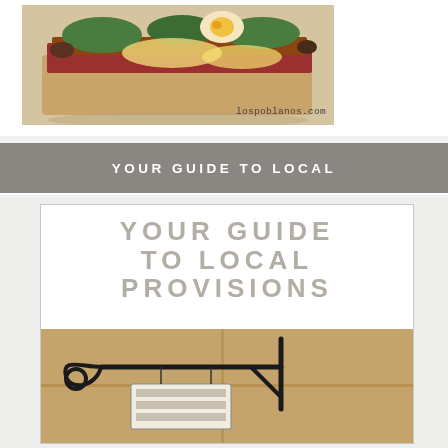[Figure (photo): Close-up photo of an open-faced sandwich with eggs, bacon, greens, and melted cheese on a white plate. Watermark 'lospoblanos.com' visible at bottom right.]
YOUR GUIDE TO LOCAL
[Figure (infographic): Composite card with large text 'YOUR GUIDE TO LOCAL PROVISIONS' in bold gray uppercase letters on white background, over a photo of a decorative wrought-iron sign bracket mounted on a building exterior.]